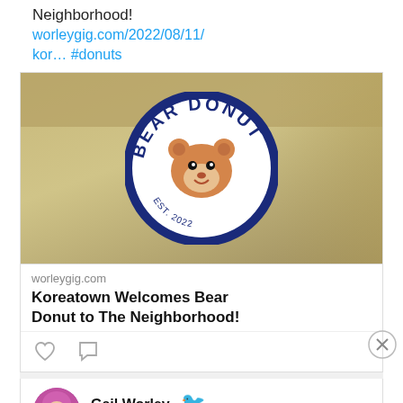Neighborhood!
worleygig.com/2022/08/11/kor… #donuts
[Figure (photo): Photo of Bear Donut shop sign — a circular blue and white logo with a cartoon bear face and text 'BEAR DONUT' around it, displayed in what appears to be a shop with a glass display case in the background.]
worleygig.com
Koreatown Welcomes Bear Donut to The Neighborhood!
Gail Worley @.. · Aug 11
Advertisements
[Figure (screenshot): Ulta Beauty advertisement banner showing makeup-themed images: lips with lipstick, makeup brush, eye with eyeshadow, Ulta Beauty logo, smoky eye, and 'SHOP NOW' text.]